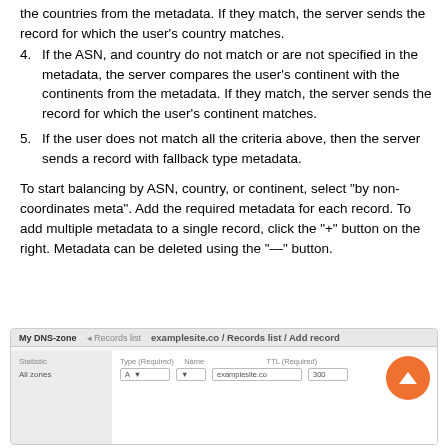the countries from the metadata. If they match, the server sends the record for which the user's country matches.
4. If the ASN, and country do not match or are not specified in the metadata, the server compares the user's continent with the continents from the metadata. If they match, the server sends the record for which the user's continent matches.
5. If the user does not match all the criteria above, then the server sends a record with fallback type metadata.
To start balancing by ASN, country, or continent, select "by non-coordinates meta". Add the required metadata for each record. To add multiple metadata to a single record, click the "+" button on the right. Metadata can be deleted using the "—" button.
[Figure (screenshot): Screenshot of DNS zone management interface showing 'My DNS-zone' sidebar, breadcrumb navigation to examplesite.co / Records list / Add record, with form fields for Type (Required), Name, and TTL (Required). An orange floating action button (up arrow) is visible in the bottom right.]